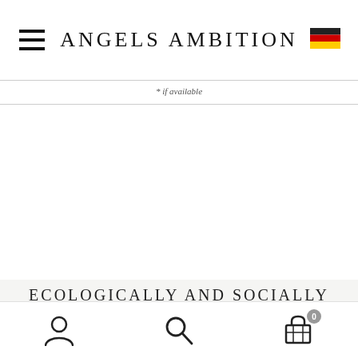ANGELS AMBITION
* if available
ECOLOGICALLY AND SOCIALLY RESPONSIBLE TEXTILE PRODUCTION
— Made in Germany —
[Figure (screenshot): Website bottom navigation bar with account icon, search icon, and basket icon with badge showing 0]